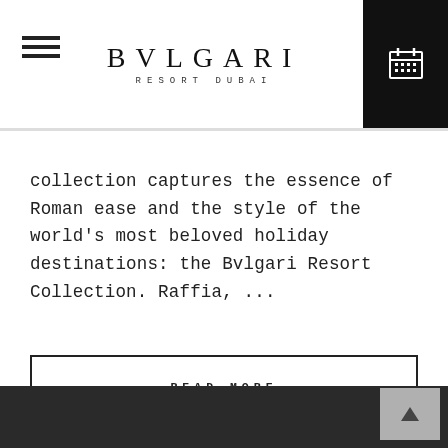BVLGARI RESORT DUBAI
collection captures the essence of Roman ease and the style of the world's most beloved holiday destinations: the Bvlgari Resort Collection. Raffia, ...
READ MORE